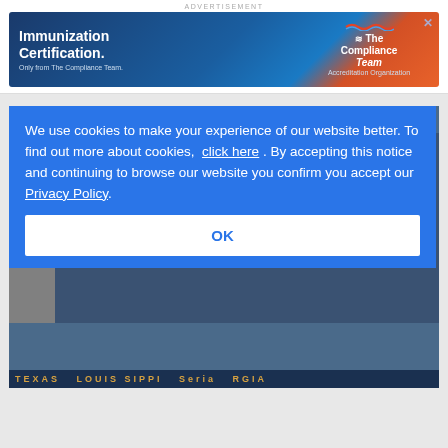[Figure (advertisement): Immunization Certification advertisement banner for The Compliance Team accreditation organization, on dark blue and orange background with close X button.]
[Figure (screenshot): Drug Store News magazine cover preview for August 2022 from drugstorenews.com, shown in background behind cookie consent overlay.]
We use cookies to make your experience of our website better. To find out more about cookies, click here . By accepting this notice and continuing to browse our website you confirm you accept our Privacy Policy.
OK